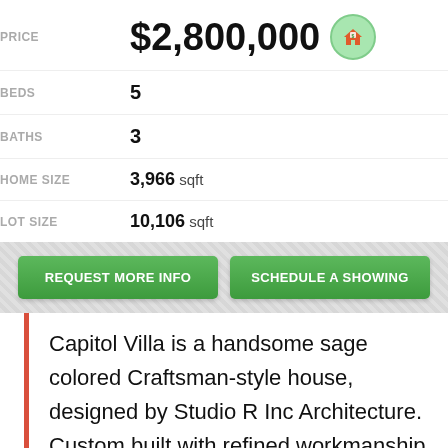| Label | Value |
| --- | --- |
| PRICE | $2,800,000 |
| BEDS | 5 |
| BATHS | 3 |
| HOME SIZE | 3,966 sqft |
| LOT SIZE | 10,106 sqft |
[Figure (other): Two green call-to-action buttons: REQUEST MORE INFO and SCHEDULE A SHOWING]
Capitol Villa is a handsome sage colored Craftsman-style house, designed by Studio R Inc Architecture. Custom built with refined workmanship and attention to details. Reminiscent